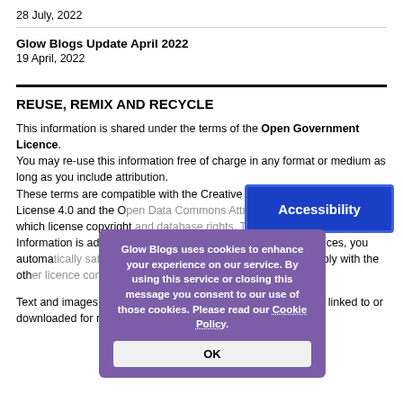28 July, 2022
Glow Blogs Update April 2022
19 April, 2022
REUSE, REMIX AND RECYCLE
This information is shared under the terms of the Open Government Licence.
You may re-use this information free of charge in any format or medium as long as you include attribution.
These terms are compatible with the Creative Commons Attribution License 4.0 and the Open Data Commons Attribution License, both of which license copyright and database rights. This means that when the Information is adapted and licensed under either of those licences, you automatically satisfy the conditions of the OGL when you comply with the other licence conditions of that Open Definition compliant.
Text and images can be copied or either linked to or downloaded for redistribution.